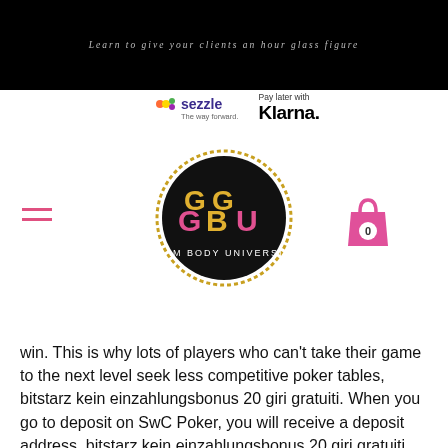Learn to give your clients an hour glass figure
[Figure (logo): Sezzle logo with tagline 'The way forward' and Klarna 'Pay later with Klarna.' payment logos]
[Figure (logo): GBU Glam Body University circular logo with hamburger menu icon and shopping bag icon]
win. This is why lots of players who can't take their game to the next level seek less competitive poker tables, bitstarz kein einzahlungsbonus 20 giri gratuiti. When you go to deposit on SwC Poker, you will receive a deposit address, bitstarz kein einzahlungsbonus 20 giri gratuiti. This is the address you put into your Bitcoin wallet to send your selected amount of Bitcoin to SwC Poker. This is called the 'flop, bitstarz kein einzahlungsbonus 20 tours gratuits. When the corresponding round of betting is complete a fourth community card is dealt face up in the center of the table.